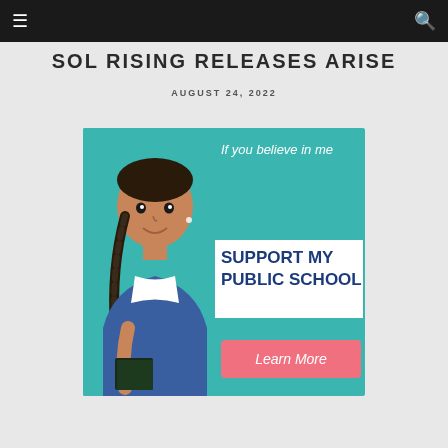≡  🔍
SOL RISING RELEASES ARISE
AUGUST 24, 2022
[Figure (illustration): Advertisement image showing a young girl with braids holding a book, with teal background and text: 'If you believe in me SUPPORT MY PUBLIC SCHOOL' and a pink 'Learn More' button.]